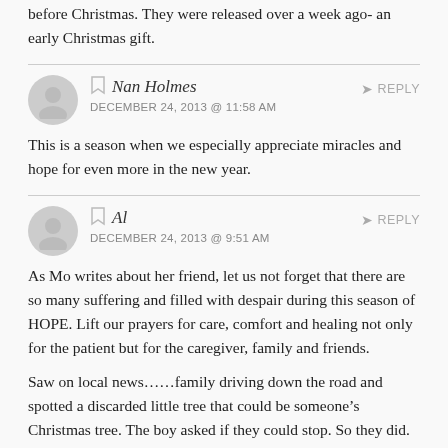before Christmas. They were released over a week ago- an early Christmas gift.
Nan Holmes
DECEMBER 24, 2013 @ 11:58 AM
This is a season when we especially appreciate miracles and hope for even more in the new year.
Al
DECEMBER 24, 2013 @ 9:51 AM
As Mo writes about her friend, let us not forget that there are so many suffering and filled with despair during this season of HOPE. Lift our prayers for care, comfort and healing not only for the patient but for the caregiver, family and friends.

Saw on local news…..family driving down the road and spotted a discarded little tree that could be someone's Christmas tree. The boy asked if they could stop. So they did. He stuck the tree into the…